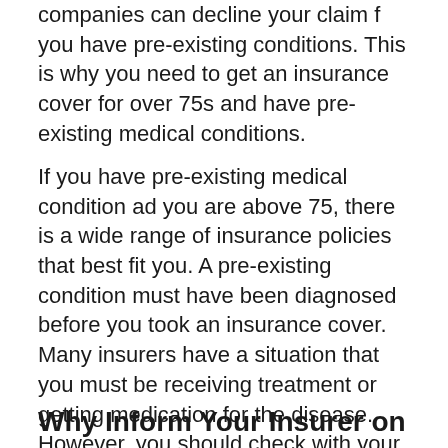companies can decline your claim f you have pre-existing conditions. This is why you need to get an insurance cover for over 75s and have pre-existing medical conditions.
If you have pre-existing medical condition ad you are above 75, there is a wide range of insurance policies that best fit you. A pre-existing condition must have been diagnosed before you took an insurance cover. Many insurers have a situation that you must be receiving treatment or getting medication for the disease. However, you should check with your insurer on pre-existing medical conditions.
Why Inform Your Insurer on